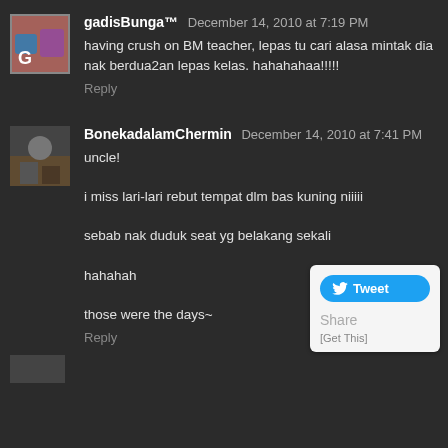[Figure (photo): Avatar image for gadisBunga user]
gadisBunga™ December 14, 2010 at 7:19 PM
having crush on BM teacher, lepas tu cari alasa mintak dia nak berdua2an lepas kelas. hahahahaa!!!!!
Reply
[Figure (photo): Avatar image for BonekadalamChermin user]
BonekadalamChermin December 14, 2010 at 7:41 PM
uncle!

i miss lari-lari rebut tempat dlm bas kuning niiiii

sebab nak duduk seat yg belakang sekali

hahahah

those were the days~
Reply
[Figure (screenshot): Tweet and Share widget overlay]